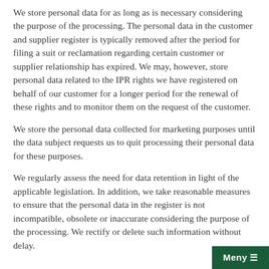We store personal data for as long as is necessary considering the purpose of the processing. The personal data in the customer and supplier register is typically removed after the period for filing a suit or reclamation regarding certain customer or supplier relationship has expired. We may, however, store personal data related to the IPR rights we have registered on behalf of our customer for a longer period for the renewal of these rights and to monitor them on the request of the customer.
We store the personal data collected for marketing purposes until the data subject requests us to quit processing their personal data for these purposes.
We regularly assess the need for data retention in light of the applicable legislation. In addition, we take reasonable measures to ensure that the personal data in the register is not incompatible, obsolete or inaccurate considering the purpose of the processing. We rectify or delete such information without delay.